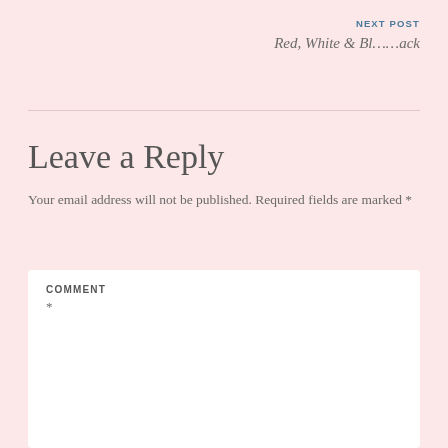NEXT POST
Red, White & Bl……ack
Leave a Reply
Your email address will not be published. Required fields are marked *
COMMENT
*